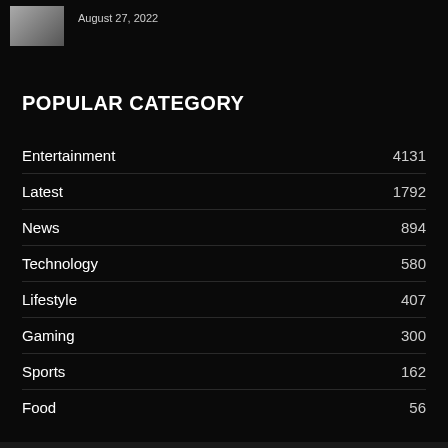[Figure (photo): Small thumbnail photo of two people outdoors]
August 27, 2022
POPULAR CATEGORY
Entertainment  4131
Latest  1792
News  894
Technology  580
Lifestyle  407
Gaming  300
Sports  162
Food  56